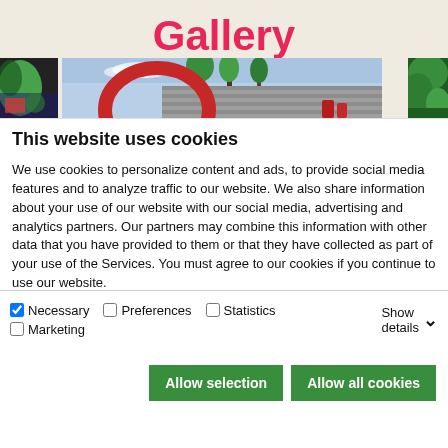Gallery
[Figure (photo): Gallery page with outdoor art installation showing a large red ring/arch sculpture against trees and a stone wall background, with side strips of green and foliage images]
This website uses cookies
We use cookies to personalize content and ads, to provide social media features and to analyze traffic to our website. We also share information about your use of our website with our social media, advertising and analytics partners. Our partners may combine this information with other data that you have provided to them or that they have collected as part of your use of the Services. You must agree to our cookies if you continue to use our website.
Allow selection | Allow all cookies
Necessary  Preferences  Statistics  Marketing  Show details